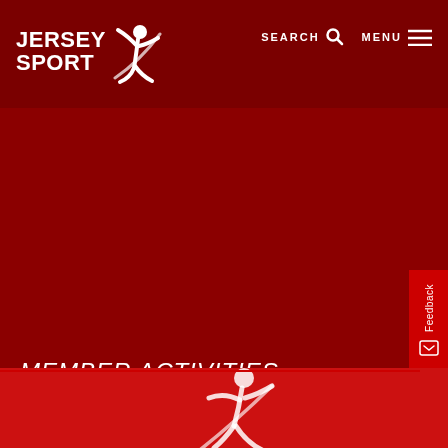JERSEY SPORT
MEMBER ACTIVITIES
JUDO FOR JUNIORS
[Figure (screenshot): Jersey Sport website screenshot showing hero banner with 'Member Activities Judo For Juniors' heading on dark red background, with navigation bar at top showing Search and Menu controls, and a partial image section at the bottom with a white figure/logo graphic on red background. A Feedback tab is visible on the right side.]